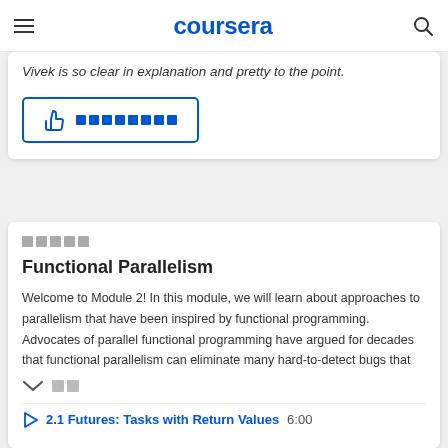coursera
Vivek is so clear in explanation and pretty to the point.
[Figure (other): Thumbs up helpful button with blue border and helpful icon with redacted text squares]
█████
Functional Parallelism
Welcome to Module 2! In this module, we will learn about approaches to parallelism that have been inspired by functional programming. Advocates of parallel functional programming have argued for decades that functional parallelism can eliminate many hard-to-detect bugs that
██
2.1 Futures: Tasks with Return Values  6:00